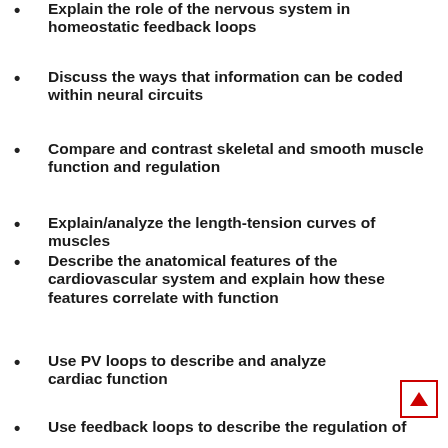Explain the role of the nervous system in homeostatic feedback loops
Discuss the ways that information can be coded within neural circuits
Compare and contrast skeletal and smooth muscle function and regulation
Explain/analyze the length-tension curves of muscles
Describe the anatomical features of the cardiovascular system and explain how these features correlate with function
Use PV loops to describe and analyze cardiac function
Use feedback loops to describe the regulation of